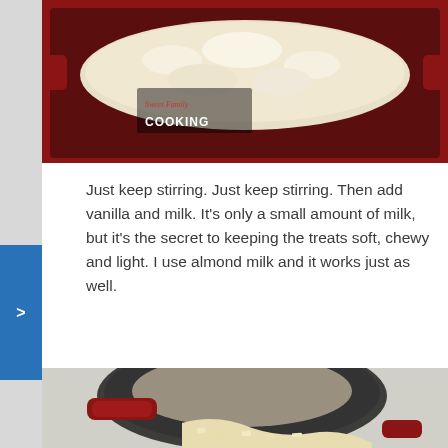[Figure (photo): Top-down view of a bubbling white mixture in a red cast iron pan, with a 'Sweet Family Cooking' logo watermark in the upper left corner.]
Just keep stirring. Just keep stirring. Then add vanilla and milk. It's only a small amount of milk, but it's the secret to keeping the treats soft, chewy and light. I use almond milk and it works just as well.
[Figure (photo): A red cast iron pot being tipped to pour a sticky white-and-yellow mixture (Rice Krispie treats) out onto a surface.]